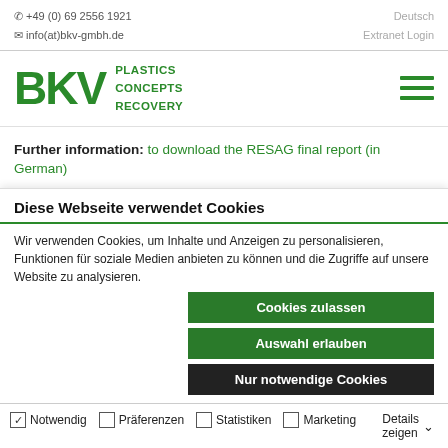+49 (0) 69 2556 1921
info(at)bkv-gmbh.de
Deutsch
Extranet Login
[Figure (logo): BKV logo with green text 'BKV' and subtitle 'PLASTICS CONCEPTS RECOVERY'. Hamburger menu icon on right.]
Further information: to download the RESAG final report (in German)
Diese Webseite verwendet Cookies
Wir verwenden Cookies, um Inhalte und Anzeigen zu personalisieren, Funktionen für soziale Medien anbieten zu können und die Zugriffe auf unsere Website zu analysieren.
Cookies zulassen
Auswahl erlauben
Nur notwendige Cookies
Notwendig  Präferenzen  Statistiken  Marketing  Details zeigen